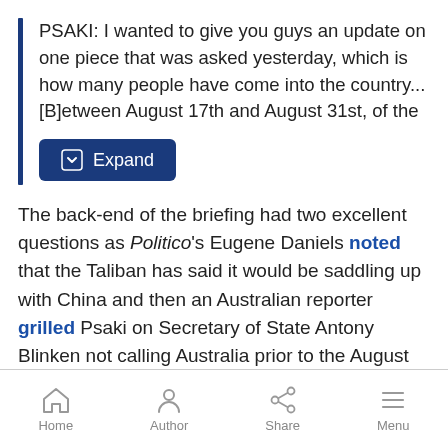PSAKI: I wanted to give you guys an update on one piece that was asked yesterday, which is how many people have come into the country... [B]etween August 17th and August 31st, of the
[Figure (other): Expand button with dark navy background and expand icon]
The back-end of the briefing had two excellent questions as Politico's Eugene Daniels noted that the Taliban has said it would be saddling up with China and then an Australian reporter grilled Psaki on Secretary of State Antony Blinken not calling Australia prior to the August 31 deadline (click “expand”):
Home  Author  Share  Menu